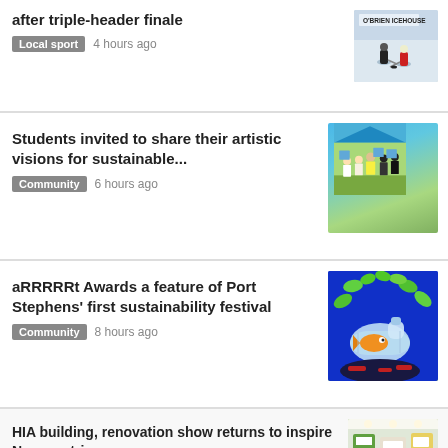after triple-header finale
Local sport  4 hours ago
[Figure (photo): Ice hockey players on the rink with O'Brien Icehouse sign in background]
Students invited to share their artistic visions for sustainable...
Community  6 hours ago
[Figure (photo): Group of students and adults standing outdoors holding signs at an event under a blue tent]
aRRRRRt Awards a feature of Port Stephens' first sustainability festival
Community  8 hours ago
[Figure (photo): Colourful illustration mural of a fish inside a plastic bottle on a blue background with green plants]
HIA building, renovation show returns to inspire Novocastrians
Business  10 hours ago
[Figure (photo): Interior of a trade show or exhibition hall with various displays and signage]